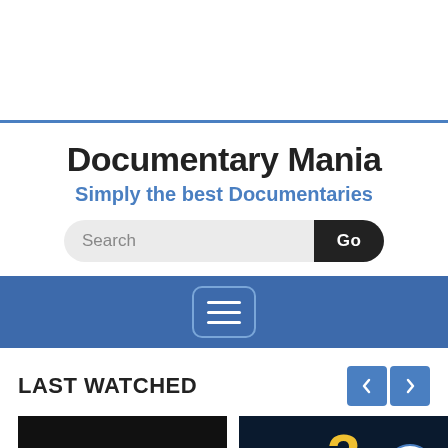[Figure (screenshot): Top white area with blue horizontal rule divider]
Documentary Mania
Simply the best Documentaries
[Figure (other): Search bar with text input showing 'Search' and a dark 'Go' button]
[Figure (other): Blue navigation bar with hamburger menu button (three horizontal lines inside a rounded rectangle)]
LAST WATCHED
[Figure (other): Two navigation arrow buttons (left and right) in blue, and a scroll-up circular button]
[Figure (other): Thumbnail of 'The Human Face of Big Data' documentary with yellow text on dark background]
[Figure (other): Thumbnail showing a large yellow number on dark background]